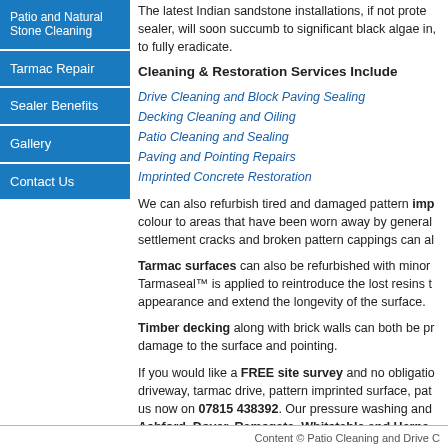Patio and Natural Stone Cleaning
Tarmac Repair
Sealer Benefits
Gallery
Contact Us
The latest Indian sandstone installations, if not protected with a sealer, will soon succumb to significant black algae in, to fully eradicate.
Cleaning & Restoration Services Include
Drive Cleaning and Block Paving Sealing
Decking Cleaning and Oiling
Patio Cleaning and Sealing
Paving and Pointing Repairs
Imprinted Concrete Restoration
We can also refurbish tired and damaged pattern imprinted concrete, colour to areas that have been worn away by general use. Settlement cracks and broken pattern cappings can al
Tarmac surfaces can also be refurbished with minor Tarmaseal™ is applied to reintroduce the lost resins t appearance and extend the longevity of the surface.
Timber decking along with brick walls can both be pr damage to the surface and pointing.
If you would like a FREE site survey and no obligatio driveway, tarmac drive, pattern imprinted surface, pat us now on 07815 438392. Our pressure washing and Ashford, Dover, Ramsgate, Whitstable and Herne
Content © Patio Cleaning and Drive C